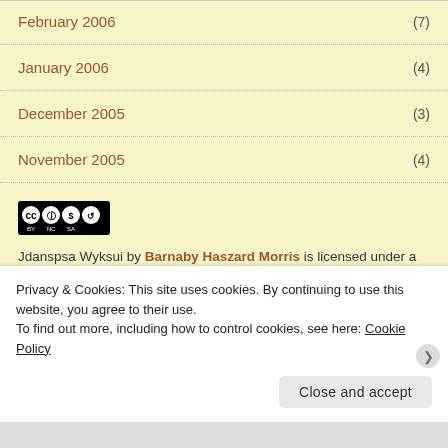February 2006 (7)
January 2006 (4)
December 2005 (3)
November 2005 (4)
[Figure (logo): Creative Commons CC BY NC SA license badge]
Jdanspsa Wyksui by Barnaby Haszard Morris is licensed under a Creative Commons Attribution-NonCommercial-ShareAlike 3.0 Unported License.
Privacy & Cookies: This site uses cookies. By continuing to use this website, you agree to their use. To find out more, including how to control cookies, see here: Cookie Policy